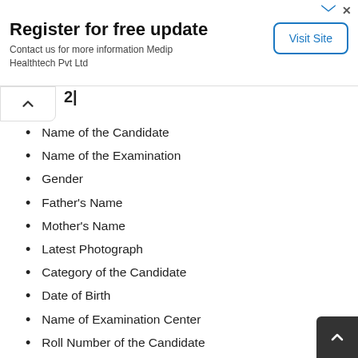[Figure (other): Advertisement banner: 'Register for free update', Contact us for more information Medip Healthtech Pvt Ltd, with a 'Visit Site' button]
Name of the Candidate
Name of the Examination
Gender
Father's Name
Mother's Name
Latest Photograph
Category of the Candidate
Date of Birth
Name of Examination Center
Roll Number of the Candidate
Address of the Center
Time of the Examination
Instructions for Candidates
Signature of the Examination Authority
Signature of the Candidate